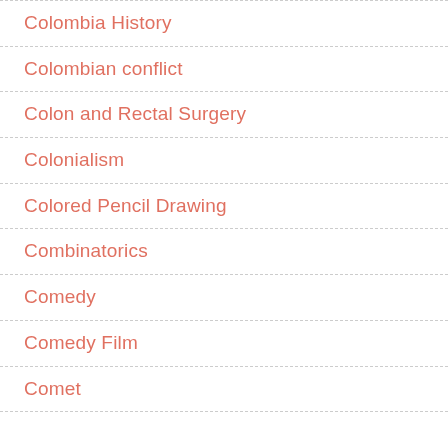Colombia History
Colombian conflict
Colon and Rectal Surgery
Colonialism
Colored Pencil Drawing
Combinatorics
Comedy
Comedy Film
Comet